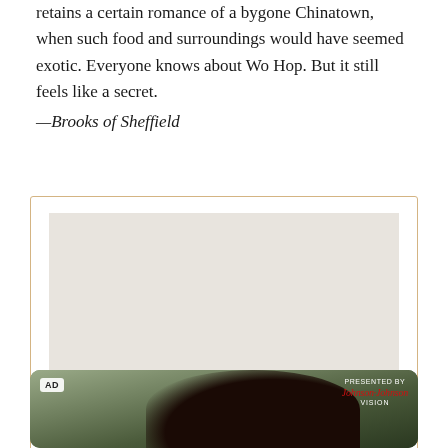retains a certain romance of a bygone Chinatown, when such food and surroundings would have seemed exotic. Everyone knows about Wo Hop. But it still feels like a secret. —Brooks of Sheffield
[Figure (other): Restaurant card for Wo Hop with a photo placeholder area, red bold title 'Wo Hop', and address '17 Mott St., New York, NY' inside a bordered card with tan/gold border.]
[Figure (photo): Advertisement image showing a person with curly dark hair, with 'AD' badge in top left and 'PRESENTED BY Johnson & Johnson VISION' logo in top right corner. Dark greenish background.]